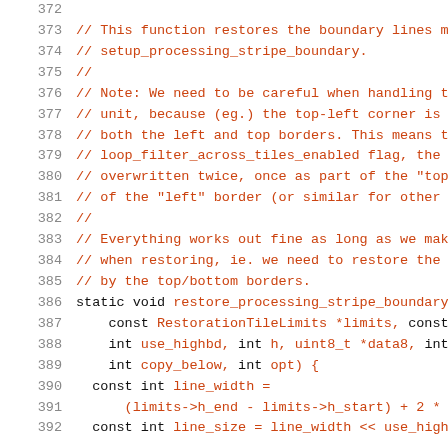Code listing lines 372–392, source file showing restore_processing_stripe_boundary function and preceding comments
372  (blank)
373  // This function restores the boundary lines mo
374  // setup_processing_stripe_boundary.
375  //
376  // Note: We need to be careful when handling th
377  // unit, because (eg.) the top-left corner is c
378  // both the left and top borders. This means th
379  // loop_filter_across_tiles_enabled flag, the c
380  // overwritten twice, once as part of the "top"
381  // of the "left" border (or similar for other c
382  //
383  // Everything works out fine as long as we make
384  // when restoring, ie. we need to restore the l
385  // by the top/bottom borders.
386  static void restore_processing_stripe_boundary(
387      const RestorationTileLimits *limits, const
388      int use_highbd, int h, uint8_t *data8, int
389      int copy_below, int opt) {
390    const int line_width =
391        (limits->h_end - limits->h_start) + 2 * R
392    const int line_size = line_width << use_highb